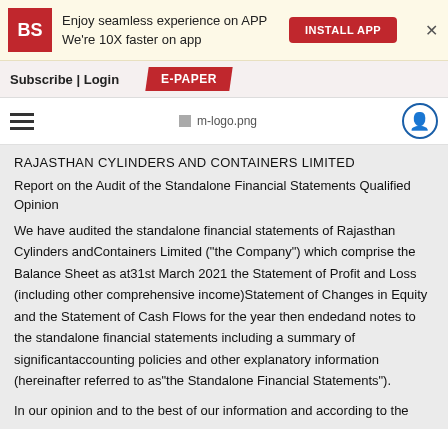Enjoy seamless experience on APP
We're 10X faster on app
INSTALL APP
Subscribe | Login  E-PAPER
m-logo.png
RAJASTHAN CYLINDERS AND CONTAINERS LIMITED
Report on the Audit of the Standalone Financial Statements Qualified Opinion
We have audited the standalone financial statements of Rajasthan Cylinders andContainers Limited ("the Company") which comprise the Balance Sheet as at31st March 2021 the Statement of Profit and Loss (including other comprehensive income)Statement of Changes in Equity and the Statement of Cash Flows for the year then endedand notes to the standalone financial statements including a summary of significantaccounting policies and other explanatory information (hereinafter referred to as"the Standalone Financial Statements").
In our opinion and to the best of our information and according to the